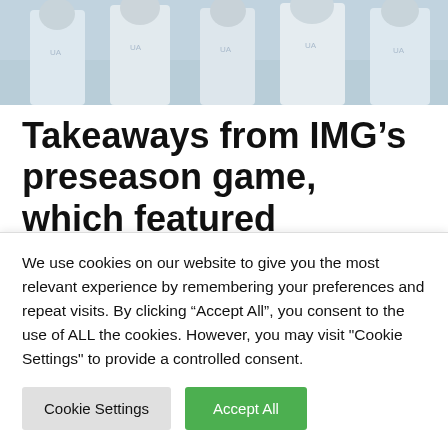[Figure (photo): Football players in white uniforms, partial view cropped at top of page]
Takeaways from IMG’s preseason game, which featured Mauigoa vs. Wilson
Leave a Comment / NFL / By akrambakha678
IMG Academy and its rockstar-like roster unofficially opened up its
We use cookies on our website to give you the most relevant experience by remembering your preferences and repeat visits. By clicking “Accept All”, you consent to the use of ALL the cookies. However, you may visit "Cookie Settings" to provide a controlled consent.